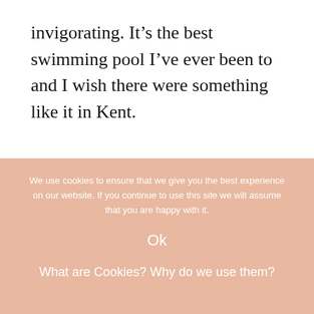invigorating. It’s the best swimming pool I’ve ever been to and I wish there were something like it in Kent.
We use cookies to ensure that we give you the best experience on our website. If you continue to use this site we will assume that you are happy with it.
Ok
What are Cookies? Why do we use them?